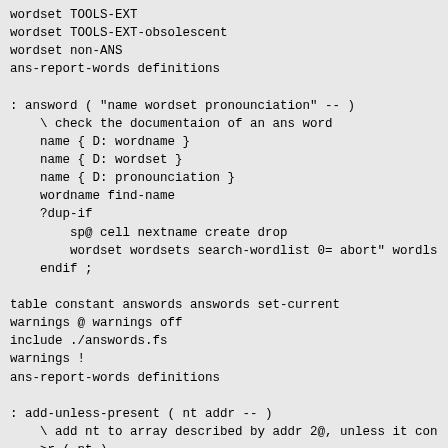wordset TOOLS-EXT
wordset TOOLS-EXT-obsolescent
wordset non-ANS
ans-report-words definitions

: answord ( "name wordset pronounciation" -- )
    \ check the documentaion of an ans word
    name { D: wordname }
    name { D: wordset }
    name { D: pronounciation }
    wordname find-name
    ?dup-if
        sp@ cell nextname create drop
        wordset wordsets search-wordlist 0= abort" wordl
    endif ;

table constant answords answords set-current
warnings @ warnings off
include ./answords.fs
warnings !
ans-report-words definitions

: add-unless-present ( nt addr -- )
    \ add nt to array described by addr 2@, unless it con
    >r ( nt )
    r@ 2@ bounds
    u+do ( nt )
        dup i @ =
        if
            drop rdrop UNLOOP EXIT
        if